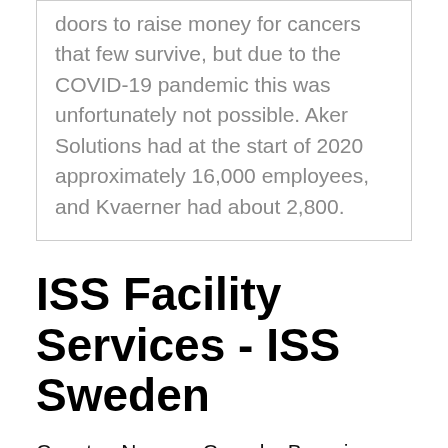doors to raise money for cancers that few survive, but due to the COVID-19 pandemic this was unfortunately not possible. Aker Solutions had at the start of 2020 approximately 16,000 employees, and Kvaerner had about 2,800.
ISS Facility Services - ISS Sweden
Country: Norway, Canada, Brunei, Angola Customer: Equinor Country: Norway Customer: CNOOC Country: China Johan Sverdrup RP Customer: Equinor Country: Norway Customer: Equinor Country: Norway Kvaerner New Aker